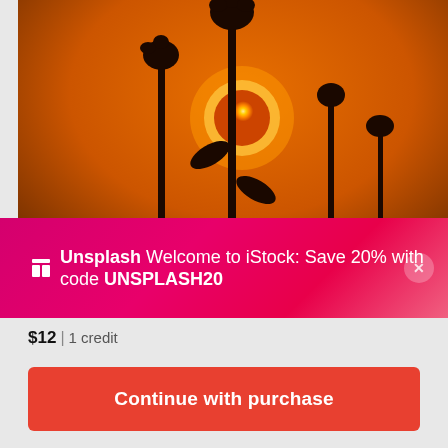[Figure (photo): Silhouette of sunflower plants against a vibrant orange sunset sky, with the sun visible behind the flower stalks]
Unsplash  Welcome to iStock: Save 20% with code UNSPLASH20
$12 | 1 credit
Continue with purchase